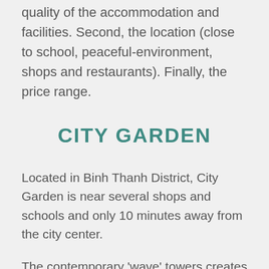quality of the accommodation and facilities. Second, the location (close to school, peaceful-environment, shops and restaurants). Finally, the price range.
CITY GARDEN
Located in Binh Thanh District, City Garden is near several shops and schools and only 10 minutes away from the city center.
The contemporary 'wave' towers creates a striking visual identity for City Garden – unique and timeless with its premium elements.